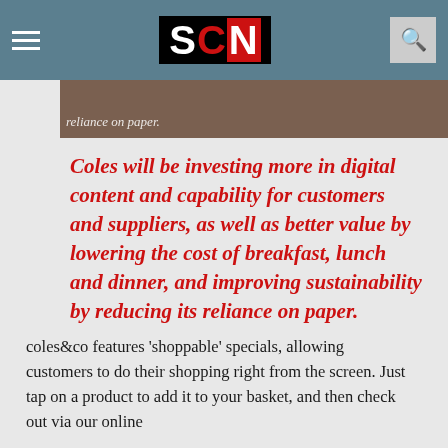SCN
[Figure (photo): Partial image strip showing text 'reliance on paper.' overlaid on a dark textured background photo]
Coles will be investing more in digital content and capability for customers and suppliers, as well as better value by lowering the cost of breakfast, lunch and dinner, and improving sustainability by reducing its reliance on paper.
coles&co features 'shoppable' specials, allowing customers to do their shopping right from the screen. Just tap on a product to add it to your basket, and then check out via our online